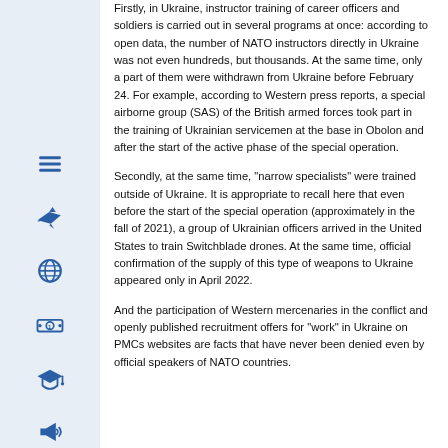Firstly, in Ukraine, instructor training of career officers and soldiers is carried out in several programs at once: according to open data, the number of NATO instructors directly in Ukraine was not even hundreds, but thousands. At the same time, only a part of them were withdrawn from Ukraine before February 24. For example, according to Western press reports, a special airborne group (SAS) of the British armed forces took part in the training of Ukrainian servicemen at the base in Obolon and after the start of the active phase of the special operation.
Secondly, at the same time, "narrow specialists" were trained outside of Ukraine. It is appropriate to recall here that even before the start of the special operation (approximately in the fall of 2021), a group of Ukrainian officers arrived in the United States to train Switchblade drones. At the same time, official confirmation of the supply of this type of weapons to Ukraine appeared only in April 2022.
And the participation of Western mercenaries in the conflict and openly published recruitment offers for "work" in Ukraine on PMCs websites are facts that have never been denied even by official speakers of NATO countries.
[Figure (illustration): Sidebar with blue icons: hamburger menu, fighter jet, globe, dollar bill, graduation cap, megaphone]